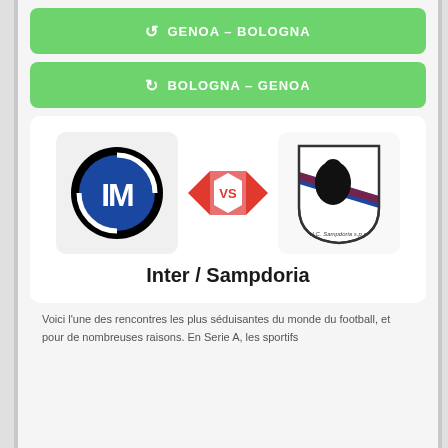↺  GENOA – BOLOGNA
↻  BOLOGNA – GENOA
[Figure (logo): Inter Milan logo (black circle with IM letters in blue and white) and Sampdoria UC logo (shield with blue diagonal stripe and black pirate figure), separated by a red VS badge]
Inter / Sampdoria
Voici l'une des rencontres les plus séduisantes du monde du football, et pour de nombreuses raisons. En Serie A, les sportifs